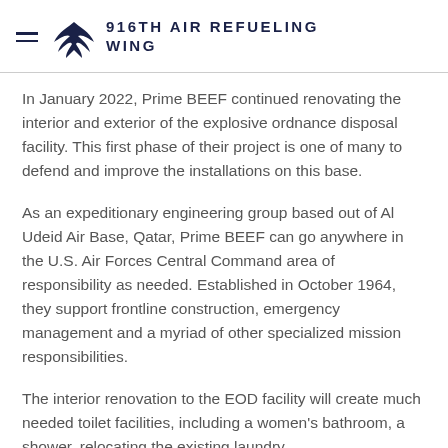916TH AIR REFUELING WING
In January 2022, Prime BEEF continued renovating the interior and exterior of the explosive ordnance disposal facility. This first phase of their project is one of many to defend and improve the installations on this base.
As an expeditionary engineering group based out of Al Udeid Air Base, Qatar, Prime BEEF can go anywhere in the U.S. Air Forces Central Command area of responsibility as needed. Established in October 1964, they support frontline construction, emergency management and a myriad of other specialized mission responsibilities.
The interior renovation to the EOD facility will create much needed toilet facilities, including a women's bathroom, a shower, relocating the existing laundry